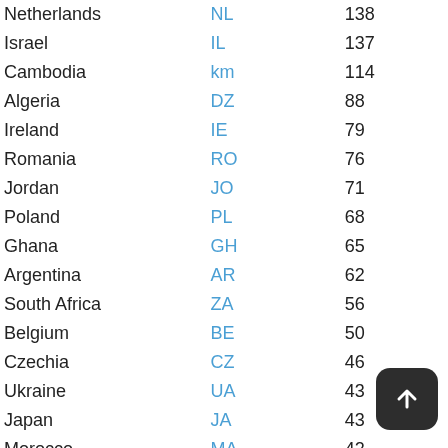| Country | Code | Value |
| --- | --- | --- |
| Netherlands | NL | 138 |
| Israel | IL | 137 |
| Cambodia | km | 114 |
| Algeria | DZ | 88 |
| Ireland | IE | 79 |
| Romania | RO | 76 |
| Jordan | JO | 71 |
| Poland | PL | 68 |
| Ghana | GH | 65 |
| Argentina | AR | 62 |
| South Africa | ZA | 56 |
| Belgium | BE | 50 |
| Czechia | CZ | 46 |
| Ukraine | UA | 43 |
| Japan | JA | 43 |
| Morocco | MA | 42 |